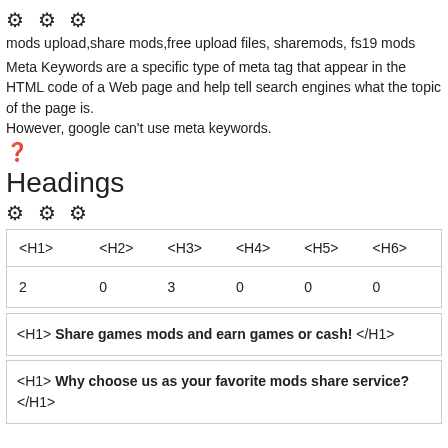[Figure (other): Three gear icons in a row]
mods upload,share mods,free upload files, sharemods, fs19 mods
Meta Keywords are a specific type of meta tag that appear in the HTML code of a Web page and help tell search engines what the topic of the page is.
However, google can't use meta keywords.
[Figure (other): Question mark icon]
Headings
[Figure (other): Three gear icons in a row]
| <H1> | <H2> | <H3> | <H4> | <H5> | <H6> |
| --- | --- | --- | --- | --- | --- |
| 2 | 0 | 3 | 0 | 0 | 0 |
<H1> Share games mods and earn games or cash! </H1>
<H1> Why choose us as your favorite mods share service? </H1>